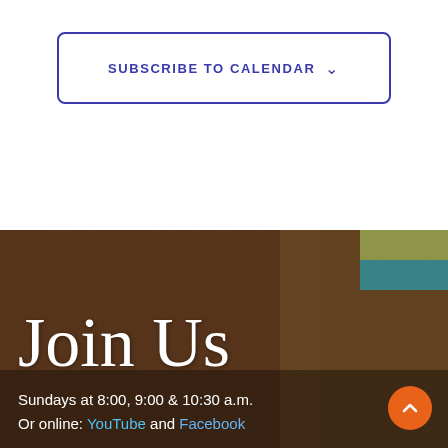SUBSCRIBE TO CALENDAR ∨
[Figure (photo): Dark textured background with grain/seed texture and a small teal/yellow area in the top right corner, overlaid with handwritten white text 'Join Us' in cursive script]
Join Us
Sundays at 8:00, 9:00 & 10:30 a.m.
Or online: YouTube and Facebook